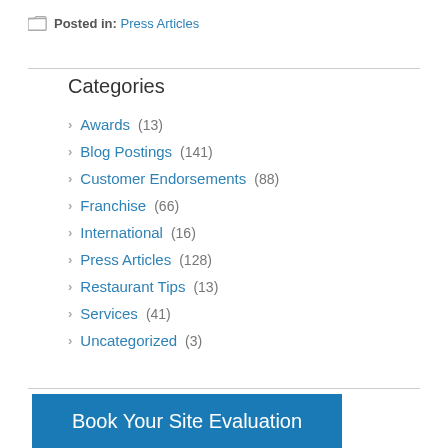Posted in: Press Articles
Categories
Awards (13)
Blog Postings (141)
Customer Endorsements (88)
Franchise (66)
International (16)
Press Articles (128)
Restaurant Tips (13)
Services (41)
Uncategorized (3)
Book Your Site Evaluation